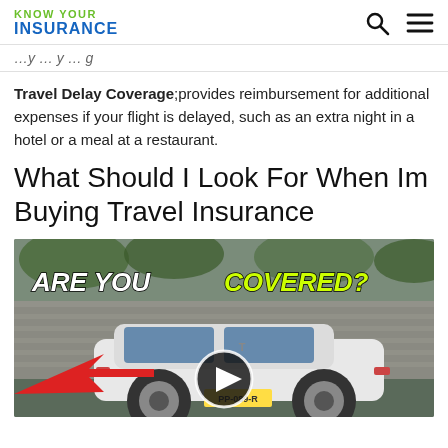KNOW YOUR INSURANCE
...you ... your ... ing
Travel Delay Coverage;provides reimbursement for additional expenses if your flight is delayed, such as an extra night in a hotel or a meal at a restaurant.
What Should I Look For When Im Buying Travel Insurance
[Figure (screenshot): Video thumbnail showing a white Tesla car with a red arrow pointing to it, text overlay reading 'ARE YOU COVERED?' with COVERED in yellow/green, and a play button in the center.]